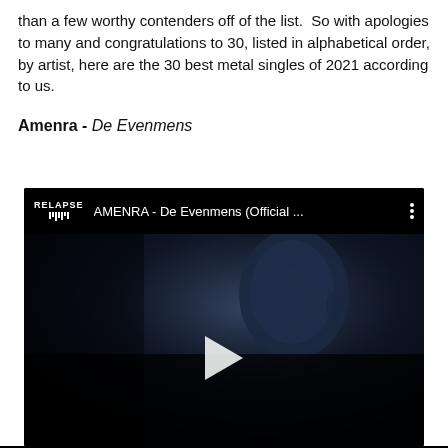than a few worthy contenders off of the list. So with apologies to many and congratulations to 30, listed in alphabetical order, by artist, here are the 30 best metal singles of 2021 according to us.
Amenra - De Evenmens
[Figure (screenshot): Embedded YouTube video player showing AMENRA - De Evenmens (Official ...) with Relapse Records logo, video thumbnail of a person's face in dark lighting, and a play button overlay]